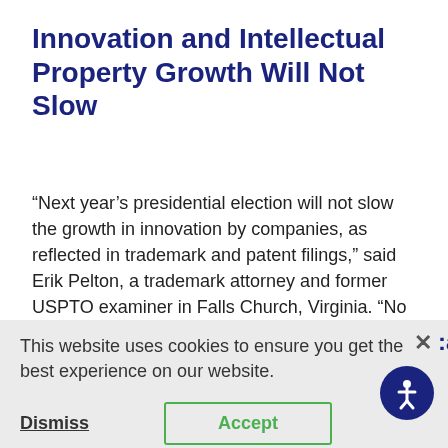Innovation and Intellectual Property Growth Will Not Slow
“Next year’s presidential election will not slow the growth in innovation by companies, as reflected in trademark and patent filings,” said Erik Pelton, a trademark attorney and former USPTO examiner in Falls Church, Virginia. “No matter how contentious the
This website uses cookies to ensure you get the best experience on our website.
most businesses,” notes Roberta Matuson, The Talent